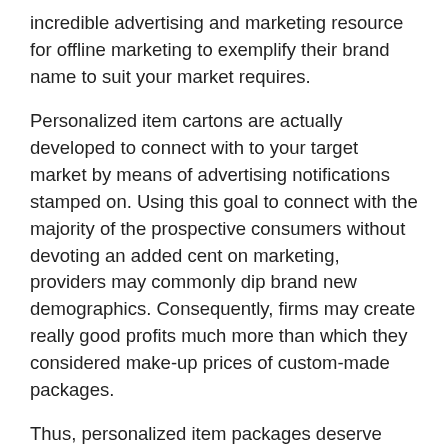incredible advertising and marketing resource for offline marketing to exemplify their brand name to suit your market requires.
Personalized item cartons are actually developed to connect with to your target market by means of advertising notifications stamped on. Using this goal to connect with the majority of the prospective consumers without devoting an added cent on marketing, providers may commonly dip brand new demographics. Consequently, firms may create really good profits much more than which they considered make-up prices of custom-made packages.
Thus, personalized item packages deserve committing nonetheless it sets you back couple of bucks even more, however one may undoubtedly receive a big discount rate if the purchase wholesale.